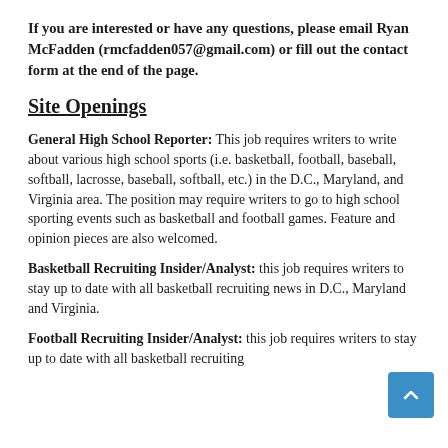If you are interested or have any questions, please email Ryan McFadden (rmcfadden057@gmail.com) or fill out the contact form at the end of the page.
Site Openings
General High School Reporter: This job requires writers to write about various high school sports (i.e. basketball, football, baseball, softball, lacrosse, baseball, softball, etc.) in the D.C., Maryland, and Virginia area. The position may require writers to go to high school sporting events such as basketball and football games. Feature and opinion pieces are also welcomed.
Basketball Recruiting Insider/Analyst: this job requires writers to stay up to date with all basketball recruiting news in D.C., Maryland and Virginia.
Football Recruiting Insider/Analyst: this job requires writers to stay up to date with all basketball recruiting news in D.C., Maryland and Virginia.